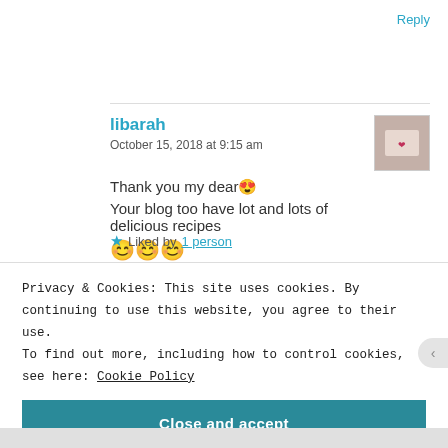Reply
libarah
October 15, 2018 at 9:15 am
Thank you my dear 😍
Your blog too have lot and lots of delicious recipes
😊😊😊
★ Liked by 1 person
Privacy & Cookies: This site uses cookies. By continuing to use this website, you agree to their use.
To find out more, including how to control cookies, see here: Cookie Policy
Close and accept